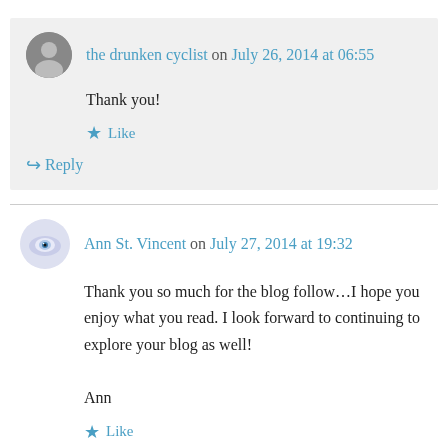the drunken cyclist on July 26, 2014 at 06:55
Thank you!
Like
Reply
Ann St. Vincent on July 27, 2014 at 19:32
Thank you so much for the blog follow…I hope you enjoy what you read. I look forward to continuing to explore your blog as well!

Ann
Like